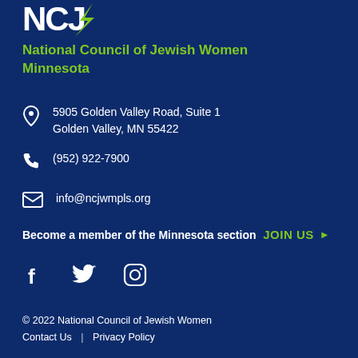[Figure (logo): NCJW logo with lightning bolt style lettering in white on dark blue background]
National Council of Jewish Women Minnesota
5905 Golden Valley Road, Suite 1
Golden Valley, MN 55422
(952) 922-7900
info@ncjwmpls.org
Become a member of the Minnesota section JOIN US ▶
[Figure (logo): Social media icons: Facebook, Twitter, Instagram in white]
© 2022 National Council of Jewish Women
Contact Us  |  Privacy Policy